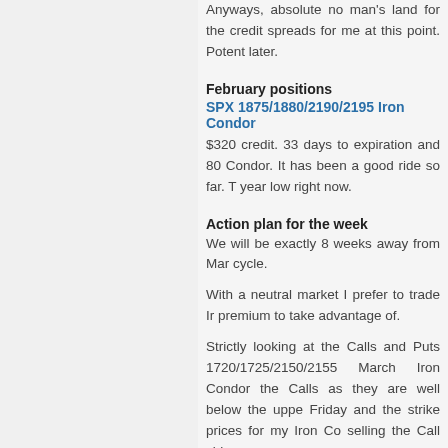Anyways, absolute no man's land for the credit spreads for me at this point. Potent later.
February positions
SPX 1875/1880/2190/2195 Iron Condor
$320 credit. 33 days to expiration and 80 Condor. It has been a good ride so far. T year low right now.
Action plan for the week
We will be exactly 8 weeks away from Mar cycle.
With a neutral market I prefer to trade Ir premium to take advantage of.
Strictly looking at the Calls and Puts 1720/1725/2150/2155 March Iron Condor the Calls as they are well below the uppe Friday and the strike prices for my Iron Co selling the Call side.